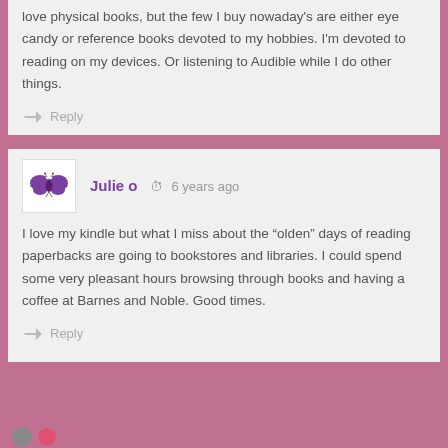love physical books, but the few I buy nowaday's are either eye candy or reference books devoted to my hobbies. I'm devoted to reading on my devices. Or listening to Audible while I do other things.
Reply
Julie o  6 years ago
I love my kindle but what I miss about the “olden” days of reading paperbacks are going to bookstores and libraries. I could spend some very pleasant hours browsing through books and having a coffee at Barnes and Noble. Good times.
Reply